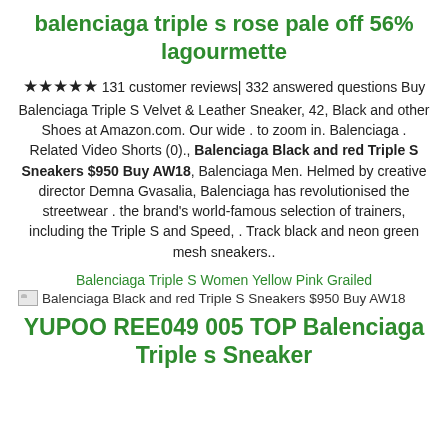balenciaga triple s rose pale off 56% lagourmette
★★★★★ 131 customer reviews| 332 answered questions Buy Balenciaga Triple S Velvet & Leather Sneaker, 42, Black and other Shoes at Amazon.com. Our wide . to zoom in. Balenciaga . Related Video Shorts (0)., Balenciaga Black and red Triple S Sneakers $950 Buy AW18, Balenciaga Men. Helmed by creative director Demna Gvasalia, Balenciaga has revolutionised the streetwear . the brand's world-famous selection of trainers, including the Triple S and Speed, . Track black and neon green mesh sneakers..
Balenciaga Triple S Women Yellow Pink Grailed
[Figure (other): Broken image placeholder with alt text: Balenciaga Black and red Triple S Sneakers $950 Buy AW18]
YUPOO REE049 005 TOP Balenciaga Triple s Sneaker